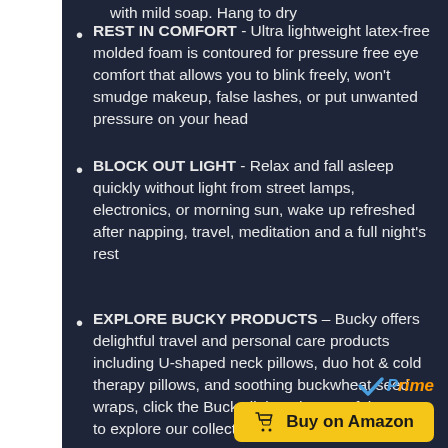with mild soap. Hang to dry
REST IN COMFORT - Ultra lightweight latex-free molded foam is contoured for pressure free eye comfort that allows you to blink freely, won't smudge makeup, false lashes, or put unwanted pressure on your head
BLOCK OUT LIGHT - Relax and fall asleep quickly without light from street lamps, electronics, or morning sun, wake up refreshed after napping, travel, meditation and a full night's rest
EXPLORE BUCKY PRODUCTS – Bucky offers delightful travel and personal care products including U-shaped neck pillows, duo hot & cold therapy pillows, and soothing buckwheat seed wraps, click the Bucky link at the top of the page to explore our collections
[Figure (logo): Amazon Prime logo with checkmark and 'Prime' text in orange/blue, and a yellow 'Buy on Amazon' button with cart icon]